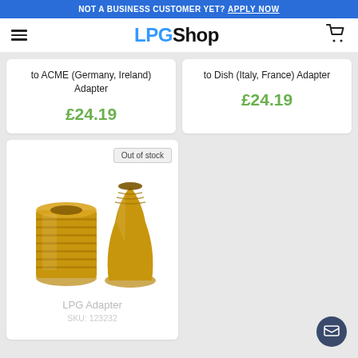NOT A BUSINESS CUSTOMER YET? APPLY NOW
[Figure (logo): LPG Shop logo with hamburger menu and cart icon]
to ACME (Germany, Ireland) Adapter
£24.19
to Dish (Italy, France) Adapter
£24.19
[Figure (photo): Two brass LPG adapter fittings, cylindrical shape with threaded ends]
Out of stock
LPG Adapter
SKU: 123232